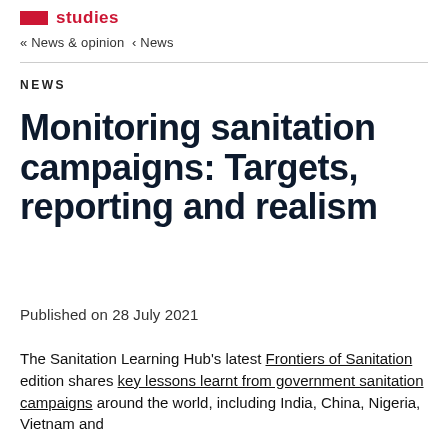studies
« News & opinion ‹ News
NEWS
Monitoring sanitation campaigns: Targets, reporting and realism
Published on 28 July 2021
The Sanitation Learning Hub's latest Frontiers of Sanitation edition shares key lessons learnt from government sanitation campaigns around the world, including India, China, Nigeria, Vietnam and